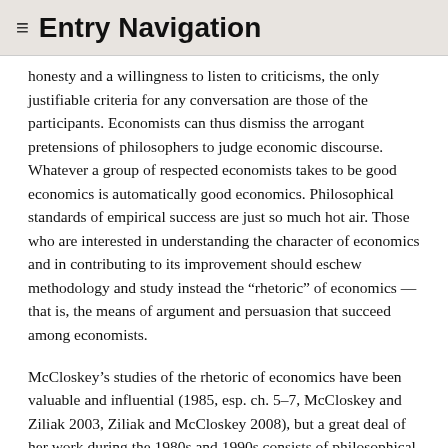≡ Entry Navigation
honesty and a willingness to listen to criticisms, the only justifiable criteria for any conversation are those of the participants. Economists can thus dismiss the arrogant pretensions of philosophers to judge economic discourse. Whatever a group of respected economists takes to be good economics is automatically good economics. Philosophical standards of empirical success are just so much hot air. Those who are interested in understanding the character of economics and in contributing to its improvement should eschew methodology and study instead the “rhetoric” of economics — that is, the means of argument and persuasion that succeed among economists.
McCloskey’s studies of the rhetoric of economics have been valuable and influential (1985, esp. ch. 5–7, McCloskey and Ziliak 2003, Ziliak and McCloskey 2008), but a great deal of her work during the 1980s and 1990s consists of philosophical critiques of economic methodology rather than studies of the rhetoric of economics. Her philosophical critiques are problematic,